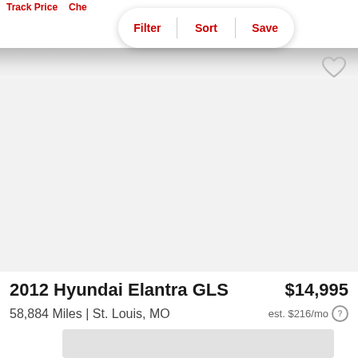Track Price  Che  Filter  Sort  Save
[Figure (photo): Car listing image area - gray background, partially visible car photo]
2012 Hyundai Elantra GLS   $14,995
58,884 Miles | St. Louis, MO   est. $216/mo